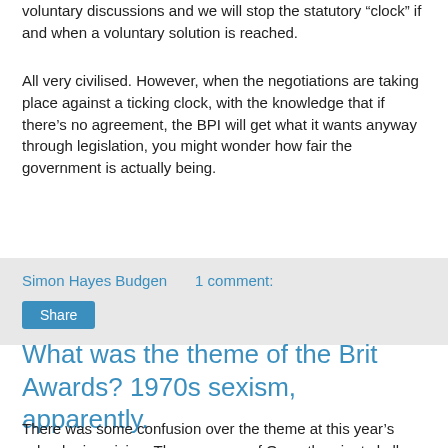voluntary discussions and we will stop the statutory “clock” if and when a voluntary solution is reached.
All very civilised. However, when the negotiations are taking place against a ticking clock, with the knowledge that if there’s no agreement, the BPI will get what it wants anyway through legislation, you might wonder how fair the government is actually being.
Simon Hayes Budgen    1 comment:
Share
What was the theme of the Brit Awards? 1970s sexism, apparently.
There was some confusion over the theme at this year’s school prize giving. The presence of Ozzy, the giant skull, the apparently-straightfaced-use of Anarchist symbols on the onscreen graphics suggested that this was an event with